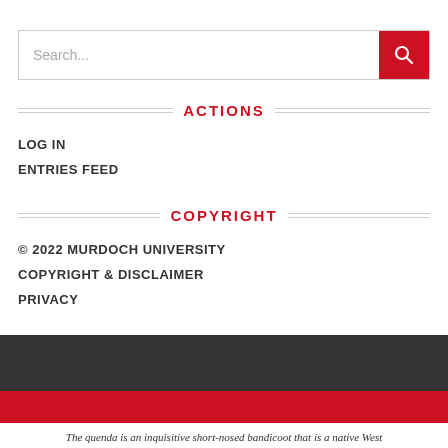[Figure (other): Search bar with text input field and red search button with magnifying glass icon]
ACTIONS
LOG IN
ENTRIES FEED
COPYRIGHT
© 2022 MURDOCH UNIVERSITY
COPYRIGHT & DISCLAIMER
PRIVACY
The quenda is an inquisitive short-nosed bandicoot that is a native West